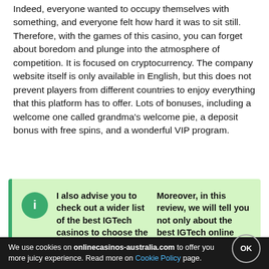Indeed, everyone wanted to occupy themselves with something, and everyone felt how hard it was to sit still. Therefore, with the games of this casino, you can forget about boredom and plunge into the atmosphere of competition. It is focused on cryptocurrency. The company website itself is only available in English, but this does not prevent players from different countries to enjoy everything that this platform has to offer. Lots of bonuses, including a welcome one called grandma's welcome pie, a deposit bonus with free spins, and a wonderful VIP program.
[Figure (infographic): Green info box with teal left border and info icon, containing two columns of bold text about IGTech casinos and pokies]
Best Online Casinos With IGTech Games
We use cookies on onlinecasinos-australia.com to offer you more juicy experience. Read more on Cookie Policy page.